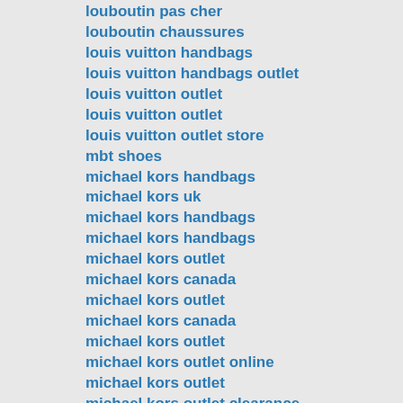louboutin pas cher
louboutin chaussures
louis vuitton handbags
louis vuitton handbags outlet
louis vuitton outlet
louis vuitton outlet
louis vuitton outlet store
mbt shoes
michael kors handbags
michael kors uk
michael kors handbags
michael kors handbags
michael kors outlet
michael kors canada
michael kors outlet
michael kors canada
michael kors outlet
michael kors outlet online
michael kors outlet
michael kors outlet clearance
michael kors outlet
michael kors outlet clearance
moncler jackets
moncler jackets